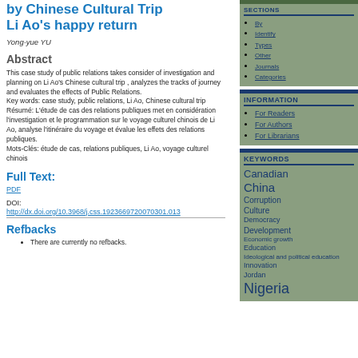by Chinese Cultural Trip　Li Ao's happy return
Yong-yue YU
Abstract
This case study of public relations takes consider of investigation and planning on Li Ao's Chinese cultural trip , analyzes the tracks of journey and evaluates the effects of Public Relations.
Key words: case study, public relations, Li Ao, Chinese cultural trip
Résumé: L'étude de cas des relations publiques met en considération l'investigation et le programmation sur le voyage culturel chinois de Li Ao, analyse l'itinéraire du voyage et évalue les effets des relations publiques.
Mots-Clés: étude de cas, relations publiques, Li Ao, voyage culturel chinois
Full Text:
PDF
DOI:
http://dx.doi.org/10.3968/j.css.1923669720070301.013
Refbacks
There are currently no refbacks.
Sections
By
Identify
Types
Other
Journals
Categories
INFORMATION
For Readers
For Authors
For Librarians
KEYWORDS
Canadian
China
Corruption
Culture
Democracy
Development
Economic growth
Education
Ideological and political education
Innovation
Jordan
Nigeria